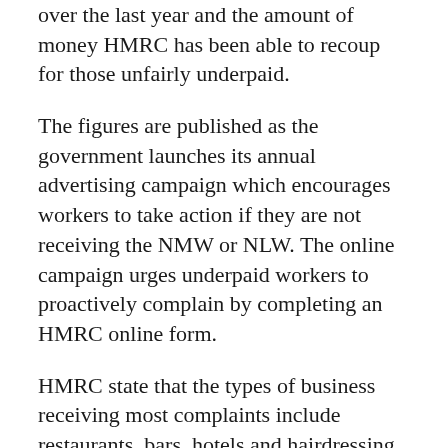over the last year and the amount of money HMRC has been able to recoup for those unfairly underpaid.
The figures are published as the government launches its annual advertising campaign which encourages workers to take action if they are not receiving the NMW or NLW. The online campaign urges underpaid workers to proactively complain by completing an HMRC online form.
HMRC state that the types of business receiving most complaints include restaurants, bars, hotels and hairdressing.
Business Minister Andrew Griffiths said:
‘Employers abusing the system and paying under the legal minimum are breaking the law. Short changing workers is a red line for this government and employers who cross the line will be identified by HMRC and forced to pay back every penny and could